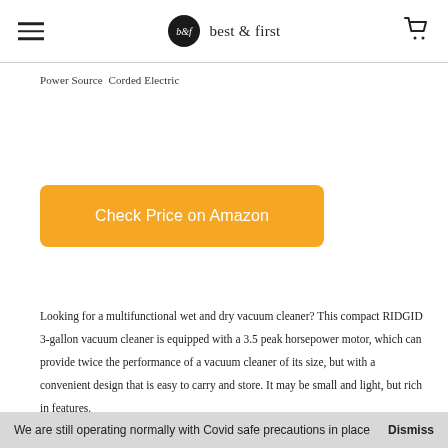best & first
Power Source  Corded Electric
Check Price on Amazon
Looking for a multifunctional wet and dry vacuum cleaner? This compact RIDGID 3-gallon vacuum cleaner is equipped with a 3.5 peak horsepower motor, which can provide twice the performance of a vacuum cleaner of its size, but with a convenient design that is easy to carry and store. It may be small and light, but rich in features.
We are still operating normally with Covid safe precautions in place  Dismiss